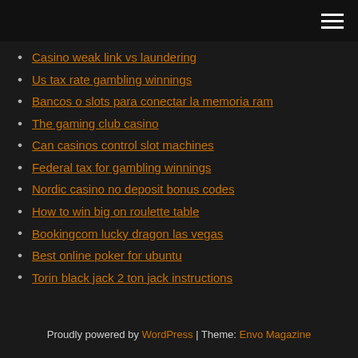[hamburger menu icon]
Casino weak link vs laundering
Us tax rate gambling winnings
Bancos o slots para conectar la memoria ram
The gaming club casino
Can casinos control slot machines
Federal tax for gambling winnings
Nordic casino no deposit bonus codes
How to win big on roulette table
Bookingcom lucky dragon las vegas
Best online poker for ubuntu
Torin black jack 2 ton jack instructions
Proudly powered by WordPress | Theme: Envo Magazine